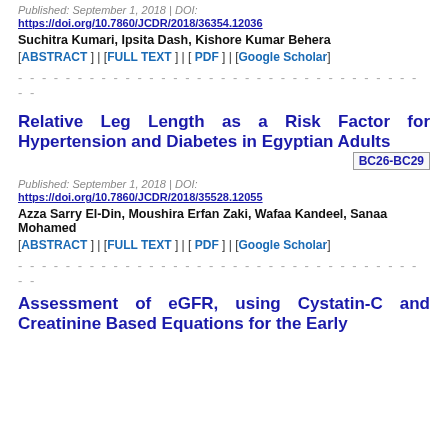Published: September 1, 2018 | DOI:
https://doi.org/10.7860/JCDR/2018/36354.12036
Suchitra Kumari, Ipsita Dash, Kishore Kumar Behera
[ABSTRACT ] | [FULL TEXT ] | [ PDF ] | [Google Scholar]
- - - - - - - - - - - - - - - - - - - - - - - - - - - - - - - - - - - - -
Relative Leg Length as a Risk Factor for Hypertension and Diabetes in Egyptian Adults
BC26-BC29
Published: September 1, 2018 | DOI:
https://doi.org/10.7860/JCDR/2018/35528.12055
Azza Sarry El-Din, Moushira Erfan Zaki, Wafaa Kandeel, Sanaa Mohamed
[ABSTRACT ] | [FULL TEXT ] | [ PDF ] | [Google Scholar]
- - - - - - - - - - - - - - - - - - - - - - - - - - - - - - - - - - - - -
Assessment of eGFR, using Cystatin-C and Creatinine Based Equations for the Early